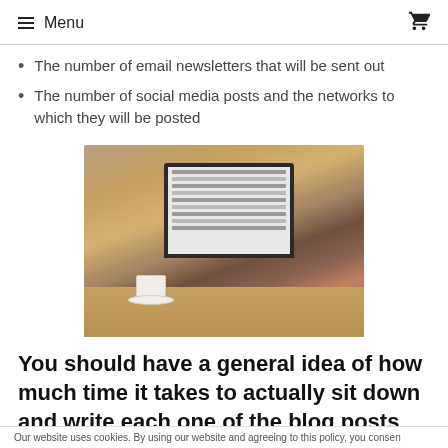≡ Menu  🛒
The number of email newsletters that will be sent out
The number of social media posts and the networks to which they will be posted
[Figure (photo): Person working on a laptop at a wooden table with a coffee cup nearby, wearing a plaid shirt]
You should have a general idea of how much time it takes to actually sit down and write each one of the blog posts that you intend to write. Carving
Our website uses cookies. By using our website and agreeing to this policy, you consen